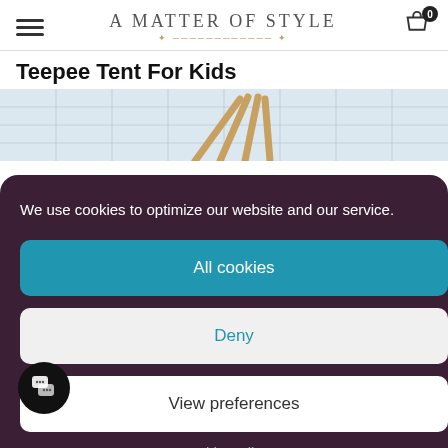A Matter of Style
Teepee Tent For Kids
[Figure (photo): Partial view of a teepee tent product photo with wooden poles visible against a white grid background]
We use cookies to optimize our website and our service.
All cookies
Deny
View preferences
Cookie Policy